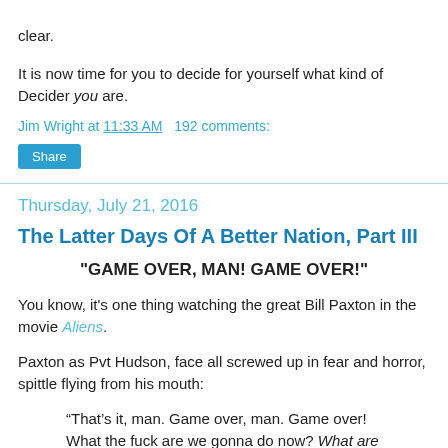clear.
It is now time for you to decide for yourself what kind of Decider you are.
Jim Wright at 11:33 AM   192 comments:
Share
Thursday, July 21, 2016
The Latter Days Of A Better Nation, Part III
"GAME OVER, MAN! GAME OVER!"
You know, it's one thing watching the great Bill Paxton in the movie Aliens.
Paxton as Pvt Hudson, face all screwed up in fear and horror, spittle flying from his mouth:
“That’s it, man. Game over, man. Game over! What the fuck are we gonna do now? What are